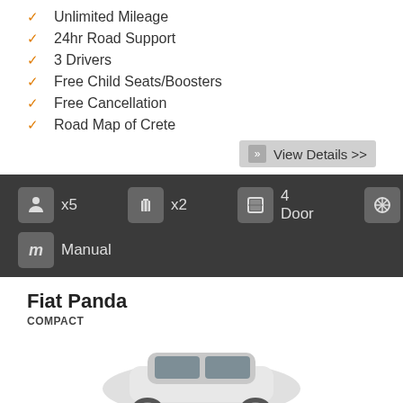Unlimited Mileage
24hr Road Support
3 Drivers
Free Child Seats/Boosters
Free Cancellation
Road Map of Crete
View Details >>
[Figure (infographic): Dark bar showing car specifications: x5 passengers, x2 luggage, 4 Door, A/C, Manual transmission]
Fiat Panda
COMPACT
[Figure (photo): Partial view of a white/light colored Fiat Panda compact car from above/rear angle]